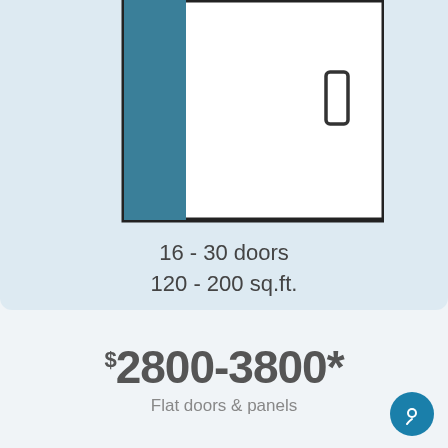[Figure (illustration): Illustration of a door with a teal/dark blue vertical stripe on the left side and a small door handle rectangle on the right side, against a light blue background.]
16 - 30 doors
120 - 200 sq.ft.
$2800-3800*
Flat doors & panels